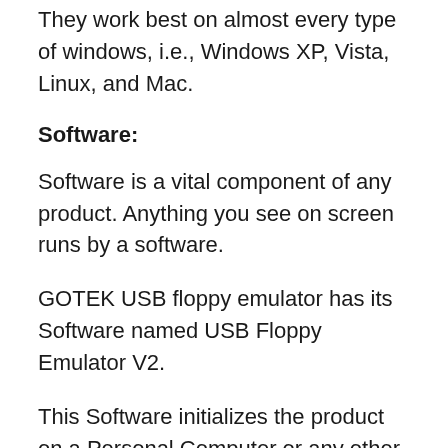They work best on almost every type of windows, i.e., Windows XP, Vista, Linux, and Mac.
Software:
Software is a vital component of any product. Anything you see on screen runs by a software.
GOTEK USB floppy emulator has its Software named USB Floppy Emulator V2.
This Software initializes the product on a Personal Computer or any other system.
It allows the user to access the